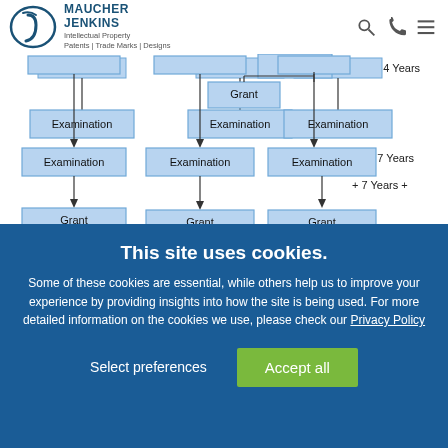Maucher Jenkins | Intellectual Property | Patents | Trade Marks | Designs
[Figure (flowchart): Flow chart showing patent application process with Examination and Grant boxes for UK, Europe, USA, China routes, with timeline annotations: + 3-4 years, + 5-7 Years, + 7 Years +]
Flow chart: a representation of a patent application first filed in the UK which is used to file in Europe, the USA and China from
This site uses cookies.
Some of these cookies are essential, while others help us to improve your experience by providing insights into how the site is being used. For more detailed information on the cookies we use, please check our Privacy Policy
Select preferences
Accept all